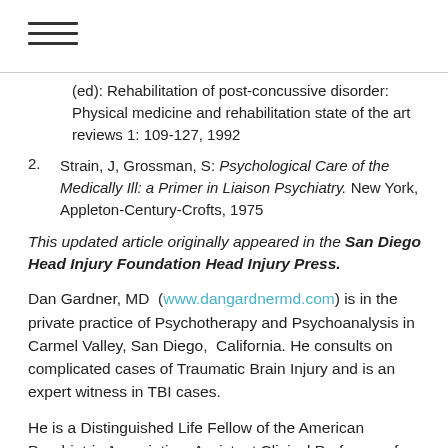≡
(ed): Rehabilitation of post-concussive disorder: Physical medicine and rehabilitation state of the art reviews 1: 109-127, 1992
Strain, J, Grossman, S: Psychological Care of the Medically Ill: a Primer in Liaison Psychiatry. New York, Appleton-Century-Crofts, 1975
This updated article originally appeared in the San Diego Head Injury Foundation Head Injury Press.
Dan Gardner, MD  (www.dangardnermd.com) is in the private practice of Psychotherapy and Psychoanalysis in Carmel Valley, San Diego,  California. He consults on complicated cases of Traumatic Brain Injury and is an expert witness in TBI cases.
He is a Distinguished Life Fellow of the American Psychiatric Association; Assistant Clinical Professor of